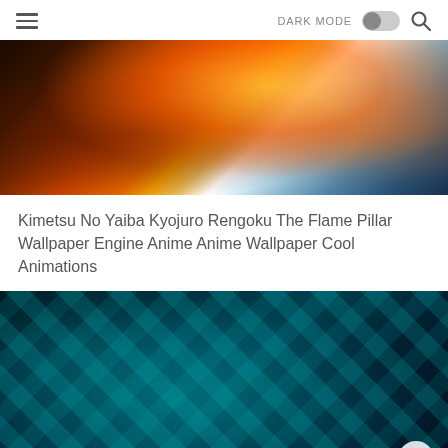≡  DARK MODE  [toggle]  🔍
[Figure (illustration): Anime digital art of Kyojuro Rengoku from Kimetsu No Yaiba (Demon Slayer), featuring fiery orange and white flame effects with dramatic lighting]
Kimetsu No Yaiba Kyojuro Rengoku The Flame Pillar Wallpaper Engine Anime Anime Wallpaper Cool Animations
[Figure (illustration): Anime digital art of Tanjiro Kamado from Kimetsu No Yaiba (Demon Slayer), wearing his iconic black and teal checkered haori, underwater or in a dynamic action pose with water droplets and dark blue background. A scroll-to-top button is visible in the lower right corner.]